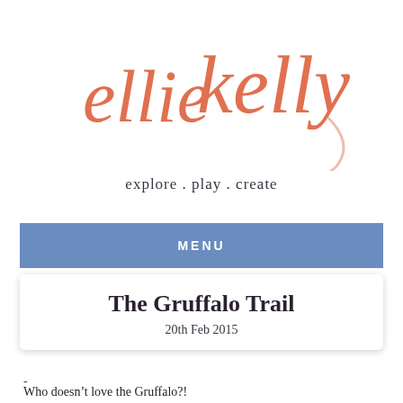[Figure (logo): Ellie Kelly blog logo in coral/salmon script handwriting style]
explore . play . create
MENU
The Gruffalo Trail
20th Feb 2015
-
Who doesn’t love the Gruffalo?!